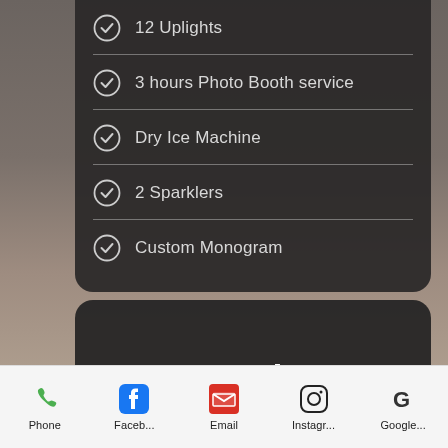12 Uplights
3 hours Photo Booth service
Dry Ice Machine
2 Sparklers
Custom Monogram
Prestige
Phone  Faceb...  Email  Instagr...  Google...